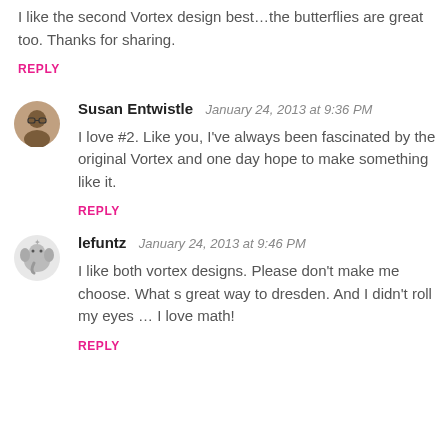I like the second Vortex design best…the butterflies are great too. Thanks for sharing.
REPLY
Susan Entwistle  January 24, 2013 at 9:36 PM
I love #2. Like you, I've always been fascinated by the original Vortex and one day hope to make something like it.
REPLY
lefuntz  January 24, 2013 at 9:46 PM
I like both vortex designs. Please don't make me choose. What s great way to dresden. And I didn't roll my eyes … I love math!
REPLY